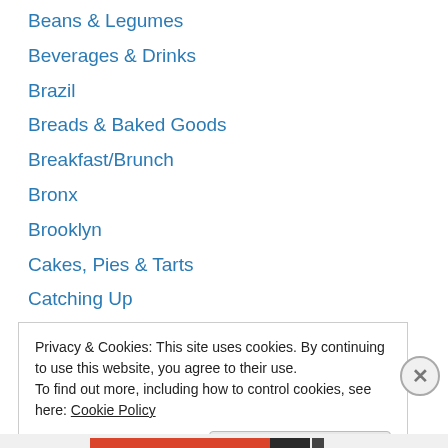Beans & Legumes
Beverages & Drinks
Brazil
Breads & Baked Goods
Breakfast/Brunch
Bronx
Brooklyn
Cakes, Pies & Tarts
Catching Up
Chile
City
Colombia
Cookies
Privacy & Cookies: This site uses cookies. By continuing to use this website, you agree to their use.
To find out more, including how to control cookies, see here: Cookie Policy